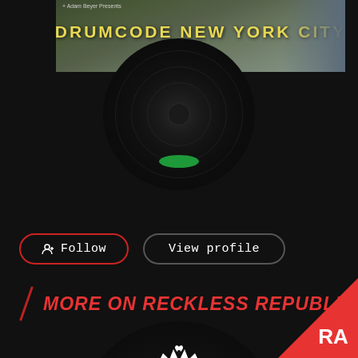[Figure (screenshot): Top banner showing 'DRUMCODE NEW YORK CITY' text over a city skyline background, with small text 'Adam Beyer Presents' in top left corner]
[Figure (illustration): Vinyl record partially visible behind top banner, dark circular disc]
[Figure (illustration): Follow button with person/add icon outlined in red, and View profile button outlined in dark grey, both pill-shaped]
MORE ON RECKLESS REPUBLIC
[Figure (logo): Black circle containing Reckless Republic logo - white ornate crown above ornamental frame with mirrored RR letters inside an oval]
[Figure (logo): RA (Resident Advisor) logo in white on red triangle in bottom right corner]